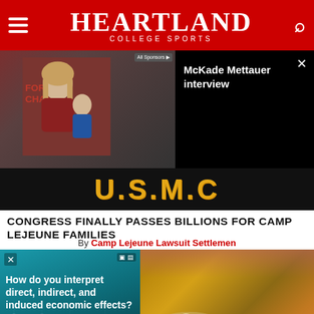Heartland College Sports
[Figure (screenshot): Video thumbnail showing athlete being interviewed, with McKade Mettauer interview title panel on right side. Close button visible.]
[Figure (screenshot): USMC banner with gold text on black background]
CONGRESS FINALLY PASSES BILLIONS FOR CAMP LEJEUNE FAMILIES
By Camp Lejeune Lawsuit Settlemen
[Figure (photo): Advertisement overlay on left showing 'How do you interpret direct, indirect, and induced economic effects?' with IMPLAN branding and LEARN MORE button. Right side shows food photo with bowl of soup/stew.]